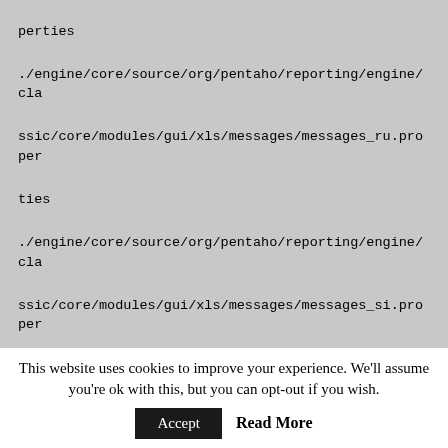perties
./engine/core/source/org/pentaho/reporting/engine/classic/core/modules/gui/xls/messages/messages_ru.properties
./engine/core/source/org/pentaho/reporting/engine/classic/core/modules/gui/xls/messages/messages_si.properties
./engine/core/source/org/pentaho/reporting/engine/classic/core/modules/gui/xls/messages/messages_sv.properties
./engine/core/source/org/pentaho/reporting/engine/classic/core/parameters/messages.properties
./engine/core/source/org/pentaho/reporting/engine/classic/core/parameters/messages_ja.properties
./engine/extensions/source/org/pentaho/reporting/engi
This website uses cookies to improve your experience. We'll assume you're ok with this, but you can opt-out if you wish. Accept Read More